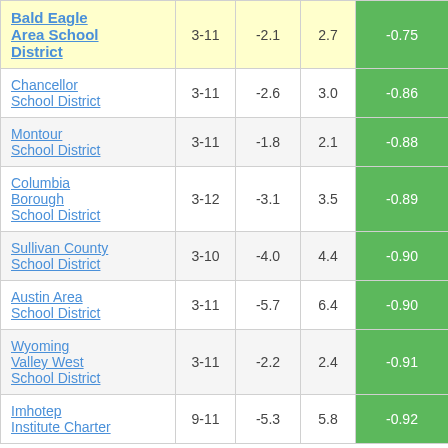| District | Grades | Col3 | Col4 | Score |
| --- | --- | --- | --- | --- |
| Bald Eagle Area School District | 3-11 | -2.1 | 2.7 | -0.75 |
| Chancellor School District | 3-11 | -2.6 | 3.0 | -0.86 |
| Montour School District | 3-11 | -1.8 | 2.1 | -0.88 |
| Columbia Borough School District | 3-12 | -3.1 | 3.5 | -0.89 |
| Sullivan County School District | 3-10 | -4.0 | 4.4 | -0.90 |
| Austin Area School District | 3-11 | -5.7 | 6.4 | -0.90 |
| Wyoming Valley West School District | 3-11 | -2.2 | 2.4 | -0.91 |
| Imhotep Institute Charter | 9-11 | -5.3 | 5.8 | -0.92 |